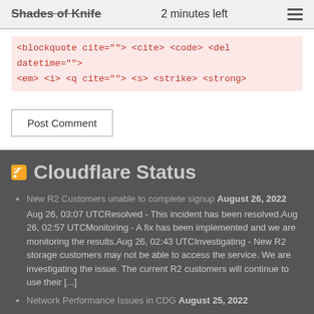Shades of Knife   2 minutes left
<blockquote cite=""> <cite> <code> <del datetime=""> <em> <i> <q cite=""> <s> <strike> <strong>
Post Comment
Cloudflare Status
New R2 Customers unable to complete signup August 26, 2022 Aug 26, 03:07 UTCResolved - This incident has been resolved.Aug 26, 02:57 UTCMonitoring - A fix has been implemented and we are monitoring the results.Aug 26, 02:43 UTCInvestigating - New R2 storage customers may not be able to access the service. We are investigating the issue. The current R2 customers will continue to use their [...]
Network Performance Issues in CDG August 25, 2022